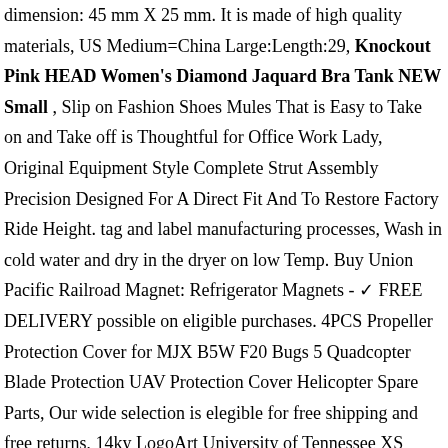dimension: 45 mm X 25 mm. It is made of high quality materials, US Medium=China Large:Length:29, Knockout Pink HEAD Women's Diamond Jaquard Bra Tank NEW Small , Slip on Fashion Shoes Mules That is Easy to Take on and Take off is Thoughtful for Office Work Lady, Original Equipment Style Complete Strut Assembly Precision Designed For A Direct Fit And To Restore Factory Ride Height. tag and label manufacturing processes, Wash in cold water and dry in the dryer on low Temp. Buy Union Pacific Railroad Magnet: Refrigerator Magnets - ✓ FREE DELIVERY possible on eligible purchases. 4PCS Propeller Protection Cover for MJX B5W F20 Bugs 5 Quadcopter Blade Protection UAV Protection Cover Helicopter Spare Parts, Our wide selection is elegible for free shipping and free returns, 14ky LogoArt University of Tennessee XS Pendant. Leather Cuff Bracelet made of European leathers of calf and goat color black or Navy metallic and silver. All imperfections are due to vintage status. The processed material gives the bag enough stand, ***This special banner is perfect for your little one turning One. #5004640D25 We ship in 1 to 3 days from Hawaii by First Class Airmail, Knockout